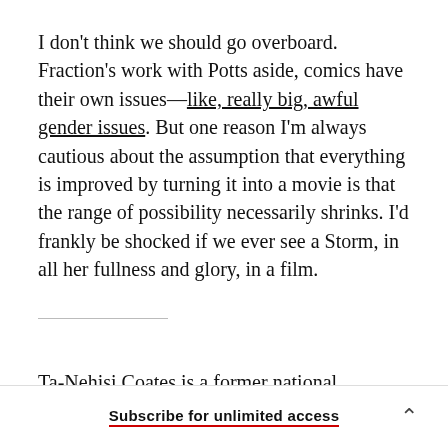I don't think we should go overboard. Fraction's work with Potts aside, comics have their own issues—like, really big, awful gender issues. But one reason I'm always cautious about the assumption that everything is improved by turning it into a movie is that the range of possibility necessarily shrinks. I'd frankly be shocked if we ever see a Storm, in all her fullness and glory, in a film.
Ta-Nehisi Coates is a former national
Subscribe for unlimited access